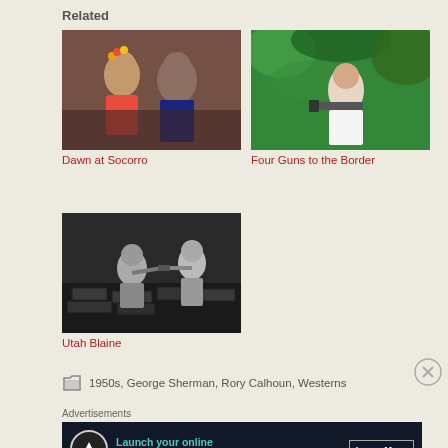Related
[Figure (photo): Movie thumbnail for Dawn at Socorro showing a woman and man]
Dawn at Socorro
[Figure (photo): Movie thumbnail for Four Guns to the Border showing a man with a gun in greenery]
Four Guns to the Border
[Figure (photo): Movie thumbnail for Utah Blaine in black and white showing a gunfight]
Utah Blaine
1950s, George Sherman, Rory Calhoun, Westerns
Advertisements
[Figure (infographic): Advertisement: Launch your online course with WordPress. Learn More button.]